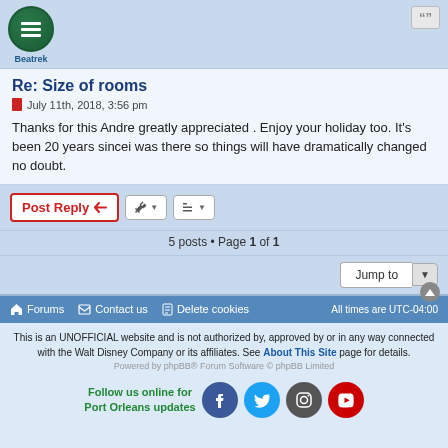Beatrek
Re: Size of rooms
July 11th, 2018, 3:56 pm
Thanks for this Andre greatly appreciated . Enjoy your holiday too. It's been 20 years sincei was there so things will have dramatically changed no doubt.
Post Reply
5 posts • Page 1 of 1
Jump to
Forums   Contact us   Delete cookies   All times are UTC-04:00
This is an UNOFFICIAL website and is not authorized by, approved by or in any way connected with the Walt Disney Company or its affiliates. See About This Site page for details.
Powered by phpBB® Forum Software © phpBB Limited
Follow us online for Port Orleans updates